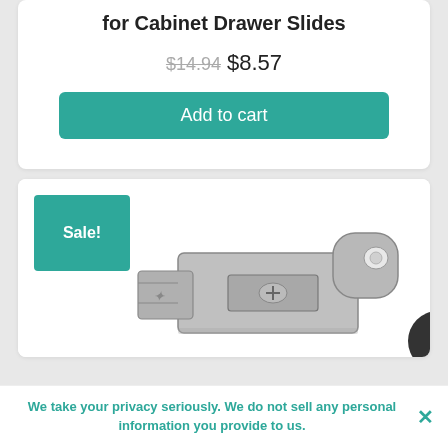for Cabinet Drawer Slides
$14.94 $8.57
Add to cart
[Figure (photo): Product card with Sale! badge showing a metal cabinet drawer slide latch/catch hardware component in silver/chrome finish]
Sale!
We take your privacy seriously. We do not sell any personal information you provide to us.